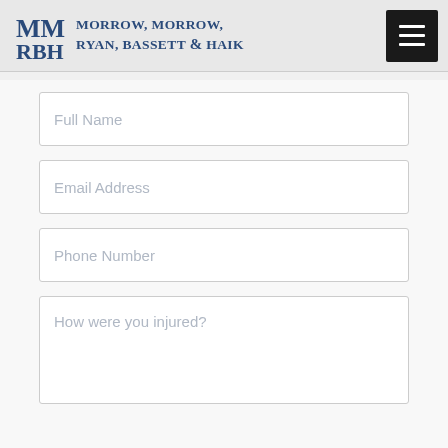Morrow, Morrow, Ryan, Bassett & Haik
Full Name
Email Address
Phone Number
How were you injured?